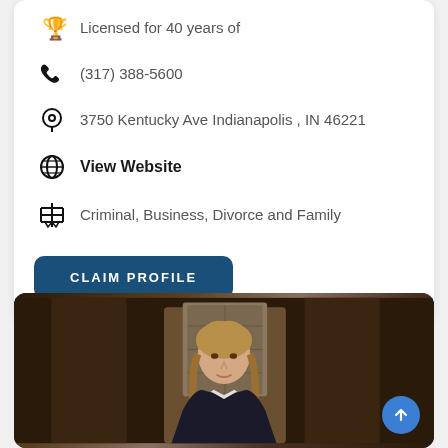Licensed for 40 years of
(317) 388-5600
3750 Kentucky Ave Indianapolis , IN 46221
View Website
Criminal, Business, Divorce and Family
CLAIM PROFILE
[Figure (photo): Photo of a woman attorney standing in front of a stone/brick background, wearing a dark blazer]